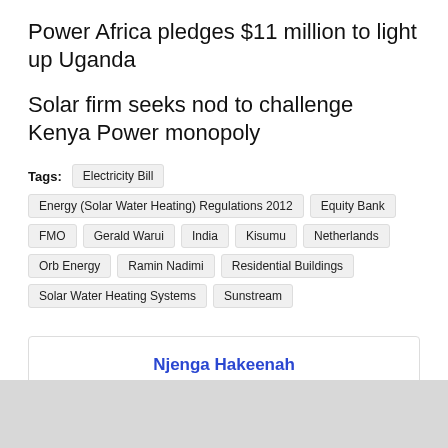Power Africa pledges $11 million to light up Uganda
Solar firm seeks nod to challenge Kenya Power monopoly
Tags: Electricity Bill Energy (Solar Water Heating) Regulations 2012 Equity Bank FMO Gerald Warui India Kisumu Netherlands Orb Energy Ramin Nadimi Residential Buildings Solar Water Heating Systems Sunstream
Njenga Hakeenah